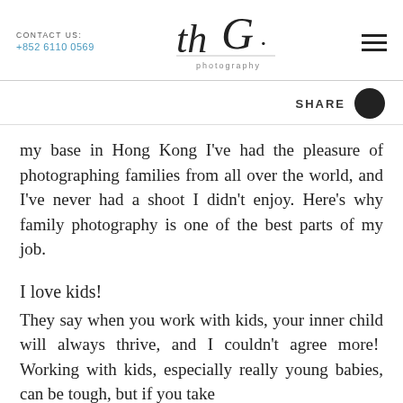CONTACT US: +852 6110 0569 | th G. photography [logo] [hamburger menu]
SHARE
my base in Hong Kong I've had the pleasure of photographing families from all over the world, and I've never had a shoot I didn't enjoy. Here's why family photography is one of the best parts of my job.
I love kids!
They say when you work with kids, your inner child will always thrive, and I couldn't agree more!  Working with kids, especially really young babies, can be tough, but if you take